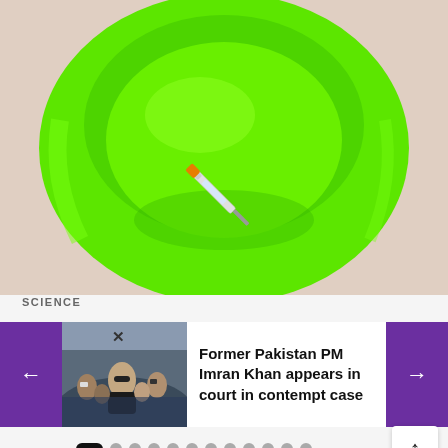[Figure (photo): Aerial view of a bright green plastic bowl/basin containing a medical syringe with orange cap, placed on a light beige/skin-toned surface]
SCIENCE
[Figure (photo): Crowd scene showing former Pakistan PM Imran Khan surrounded by supporters and press]
Former Pakistan PM Imran Khan appears in court in contempt case